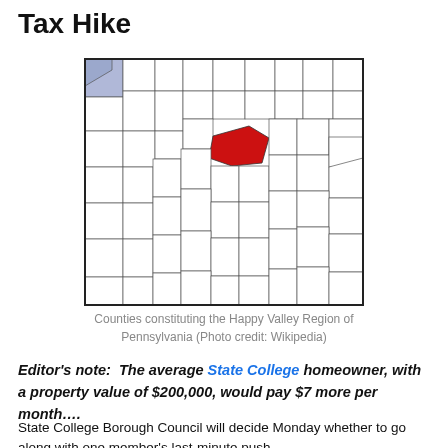Tax Hike
[Figure (map): Map of Pennsylvania counties with the Happy Valley Region highlighted in red (centre) and one county in blue (upper left)]
Counties constituting the Happy Valley Region of Pennsylvania (Photo credit: Wikipedia)
Editor's note:  The average State College homeowner, with a property value of $200,000, would pay $7 more per month....
State College Borough Council will decide Monday whether to go along with one member's last-minute push